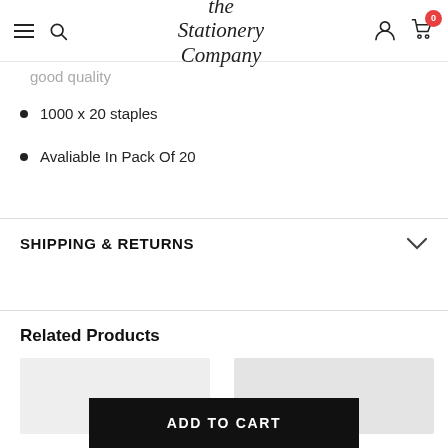The Stationery Company
good quality
1000 x 20 staples
Avaliable In Pack Of 20
SHIPPING & RETURNS
Related Products
[Figure (other): Two product thumbnail images side by side]
ADD TO CART